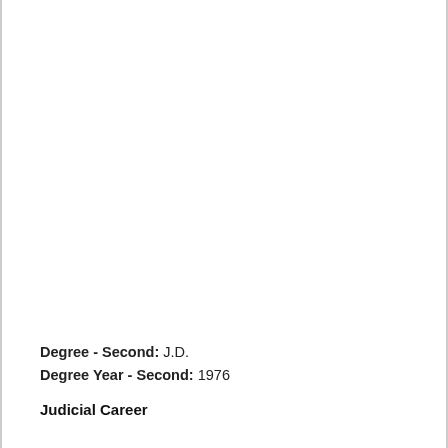Degree - Second:  J.D.
Degree Year - Second:  1976
Judicial Career